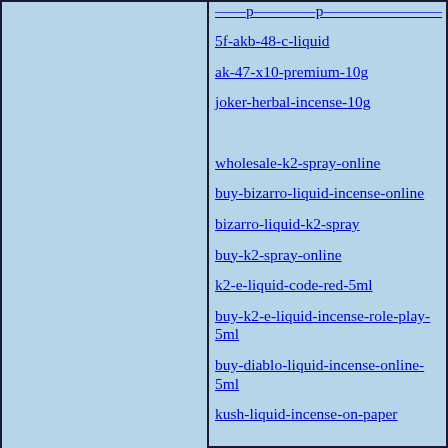5f-akb-48-c-liquid
ak-47-x10-premium-10g
joker-herbal-incense-10g
wholesale-k2-spray-online
buy-bizarro-liquid-incense-online
bizarro-liquid-k2-spray
buy-k2-spray-online
k2-e-liquid-code-red-5ml
buy-k2-e-liquid-incense-role-play-5ml
buy-diablo-liquid-incense-online-5ml
kush-liquid-incense-on-paper